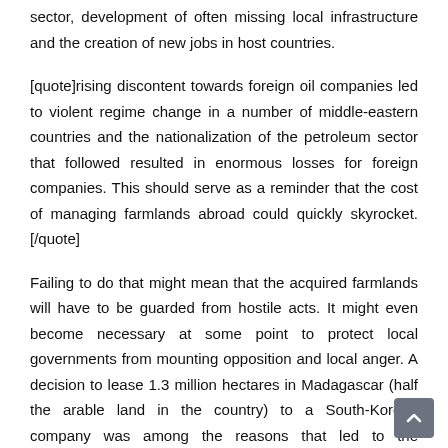sector, development of often missing local infrastructure and the creation of new jobs in host countries.
[quote]rising discontent towards foreign oil companies led to violent regime change in a number of middle-eastern countries and the nationalization of the petroleum sector that followed resulted in enormous losses for foreign companies. This should serve as a reminder that the cost of managing farmlands abroad could quickly skyrocket.[/quote]
Failing to do that might mean that the acquired farmlands will have to be guarded from hostile acts. It might even become necessary at some point to protect local governments from mounting opposition and local anger. A decision to lease 1.3 million hectares in Madagascar (half the arable land in the country) to a South-Korean company was among the reasons that led to the overthrow of the President in 2009. For its part, Pakistan mentioned it would be ready to assign a 100,000 strong